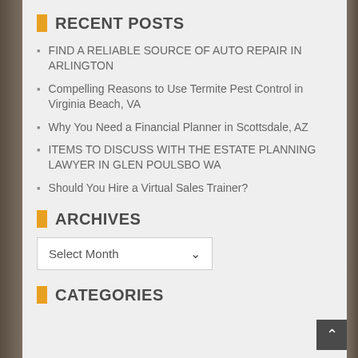RECENT POSTS
FIND A RELIABLE SOURCE OF AUTO REPAIR IN ARLINGTON
Compelling Reasons to Use Termite Pest Control in Virginia Beach, VA
Why You Need a Financial Planner in Scottsdale, AZ
ITEMS TO DISCUSS WITH THE ESTATE PLANNING LAWYER IN GLEN POULSBO WA
Should You Hire a Virtual Sales Trainer?
ARCHIVES
Select Month
CATEGORIES